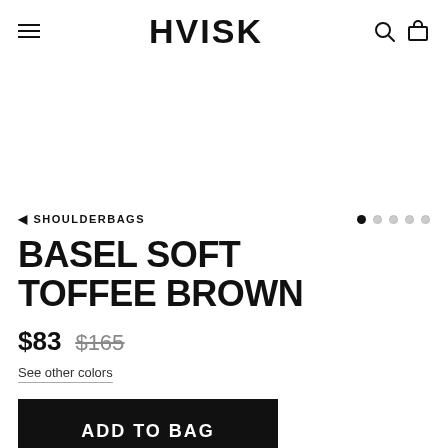HVISK
[Figure (other): White blank image area (product image placeholder)]
◄ SHOULDERBAGS
Dot navigation: 5 dots, first filled
BASEL SOFT TOFFEE BROWN
$83   $165 (strikethrough)
See other colors
ADD TO BAG